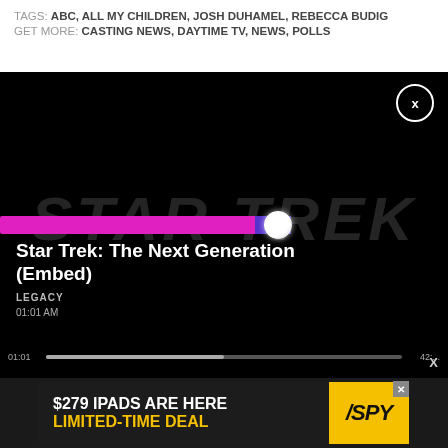TAGS: ABC, ALL MY CHILDREN, JOSH DUHAMEL, REBECCA BUDIG
GET MORE: CASTING NEWS, DAYTIME TV, NEWS, POLLS
[Figure (screenshot): Video player showing Star Trek: The Next Generation (Embed) with a magenta/purple progress bar and white scrubber knob on a black background. A watermark reads STAR TREK. Controls bar at bottom with seek bar. Close X button in top right corner.]
Star Trek: The Next Generation (Embed)
LEGACY
[Figure (screenshot): Advertisement banner: $279 IPADS ARE HERE LIMITED-TIME DEAL with SPY logo in yellow]